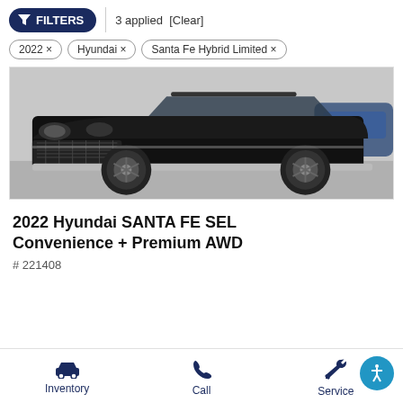FILTERS | 3 applied [Clear]
2022 ×
Hyundai ×
Santa Fe Hybrid Limited ×
[Figure (photo): Front view of a black 2022 Hyundai Santa Fe SUV parked in a lot]
2022 Hyundai SANTA FE SEL Convenience + Premium AWD
# 221408
Inventory  Call  Service